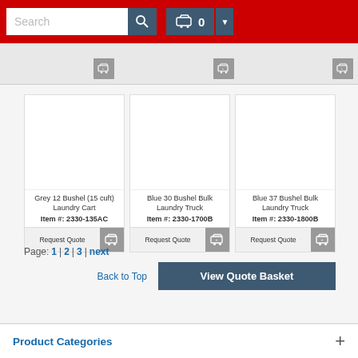Search | Cart 0
[Figure (screenshot): Partial product row from previous page with add-to-cart buttons]
Grey 12 Bushel (15 cuft) Laundry Cart
Item #: 2330-135AC
Blue 30 Bushel Bulk Laundry Truck
Item #: 2330-1700B
Blue 37 Bushel Bulk Laundry Truck
Item #: 2330-1800B
Request Quote (x3 products)
Page: 1 | 2 | 3 | next
Back to Top
View Quote Basket
Product Categories